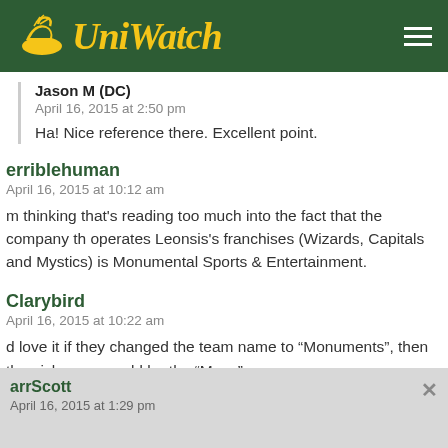Uni Watch
Jason M (DC)
April 16, 2015 at 2:50 pm
Ha! Nice reference there. Excellent point.
erriblehuman
April 16, 2015 at 10:12 am
m thinking that's reading too much into the fact that the company th operates Leonsis's franchises (Wizards, Capitals and Mystics) is Monumental Sports & Entertainment.
Clarybird
April 16, 2015 at 10:22 am
d love it if they changed the team name to “Monuments”, then the nickname would be the “Mons”.
nk
arrScott
April 16, 2015 at 1:29 pm